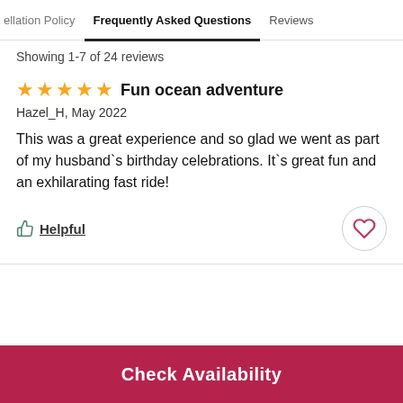ellation Policy   Frequently Asked Questions   Reviews
Showing 1-7 of 24 reviews
Fun ocean adventure
Hazel_H, May 2022
This was a great experience and so glad we went as part of my husband`s birthday celebrations. It`s great fun and an exhilarating fast ride!
Helpful
Check Availability